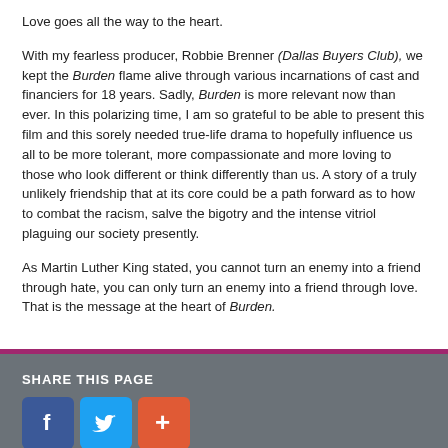Love goes all the way to the heart.
With my fearless producer, Robbie Brenner (Dallas Buyers Club), we kept the Burden flame alive through various incarnations of cast and financiers for 18 years. Sadly, Burden is more relevant now than ever. In this polarizing time, I am so grateful to be able to present this film and this sorely needed true-life drama to hopefully influence us all to be more tolerant, more compassionate and more loving to those who look different or think differently than us. A story of a truly unlikely friendship that at its core could be a path forward as to how to combat the racism, salve the bigotry and the intense vitriol plaguing our society presently.
As Martin Luther King stated, you cannot turn an enemy into a friend through hate, you can only turn an enemy into a friend through love. That is the message at the heart of Burden.
SHARE THIS PAGE
[Figure (other): Share buttons: Facebook (blue), Twitter (light blue), Plus/AddThis (orange)]
[Figure (other): Google Play badge: GET IT ON Google Play]